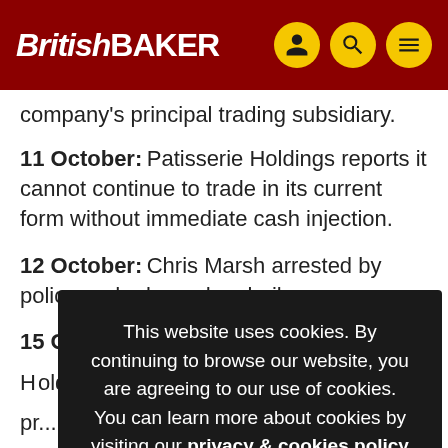British BAKER
company's principal trading subsidiary.
11 October: Patisserie Holdings reports it cannot continue to trade in its current form without immediate cash injection.
12 October: Chris Marsh arrested by police and released on bail.
15 [partially visible] Holdings pr...
24 [partially visible]
26 October: Chris Marsh resigns from finance director role
This website uses cookies. By continuing to browse our website, you are agreeing to our use of cookies. You can learn more about cookies by visiting our privacy & cookies policy page.